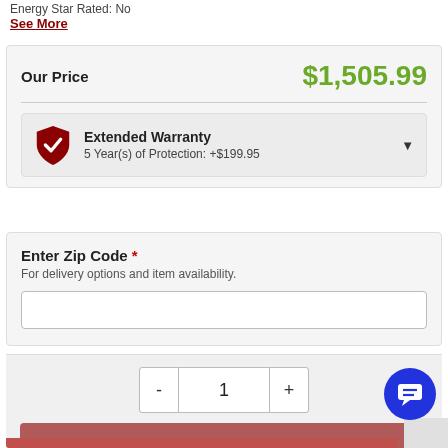Energy Star Rated: No
See More
Our Price   $1,505.99
Extended Warranty
5 Year(s) of Protection: +$199.95
Enter Zip Code *
For delivery options and item availability.
1
Add to Cart